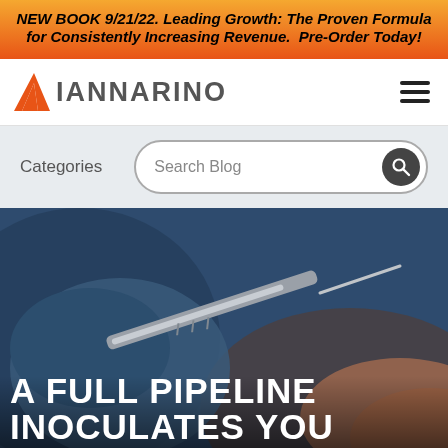NEW BOOK 9/21/22. Leading Growth: The Proven Formula for Consistently Increasing Revenue. Pre-Order Today!
[Figure (logo): Iannarino logo with orange triangle/chevron and grey text IANNARINO]
[Figure (photo): Close-up photo of a gloved hand holding a syringe/needle injecting into skin, dark blue background]
A FULL PIPELINE INOCULATES YOU